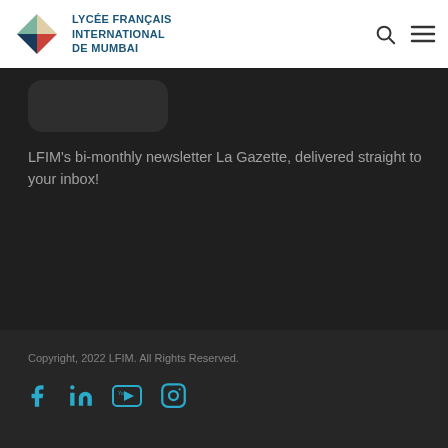LYCÉE FRANÇAIS INTERNATIONAL DE MUMBAI
[Figure (logo): Lycée Français International de Mumbai logo — geometric diamond shape with triangular color segments: teal/green top-left, dark blue bottom-left, red bottom-right, white/cream center-right]
LFIM's bi-monthly newsletter La Gazette, delivered straight to your inbox!
Copyright, 2022 LFIM. All Rights Reserved.
[Figure (infographic): Social media icons row: Facebook, LinkedIn, YouTube, Instagram — all in teal/cyan color]